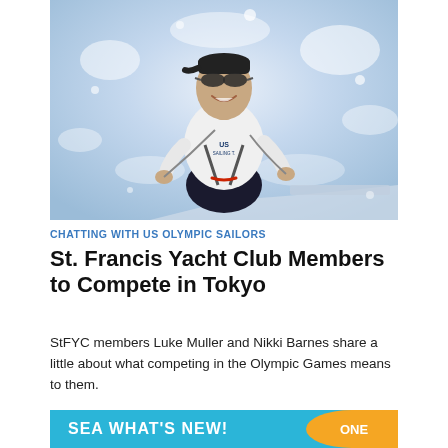[Figure (photo): A smiling male sailor wearing a white US Sailing Team long-sleeve shirt, sunglasses, and a black cap, seated in a sailboat on sparkling water, holding sailing ropes.]
CHATTING WITH US OLYMPIC SAILORS
St. Francis Yacht Club Members to Compete in Tokyo
StFYC members Luke Muller and Nikki Barnes share a little about what competing in the Olympic Games means to them.
SEA WHAT'S NEW!   ONE